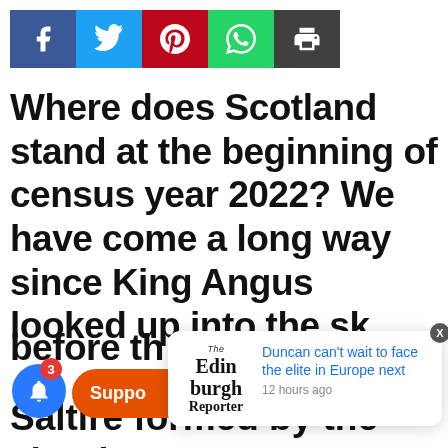[Figure (infographic): Social media share buttons: Facebook (blue), Twitter (cyan), Pinterest (red), WhatsApp (green), Print (dark grey)]
Where does Scotland stand at the beginning of census year 2022? We have come a long way since King Angus looked up into the sky before th... d in 832 and saw a Saltire formed by the clouds. So
[Figure (infographic): Notification popup from Edinburgh Reporter: 'Duncan can't wait to face the elite in Europe next' — 12 hours ago. Also shows notification bell with badge of 3 and a Support button.]